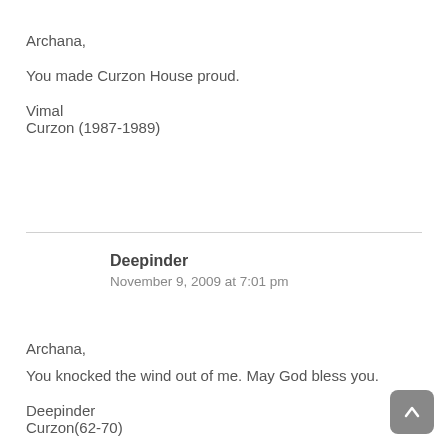Archana,
You made Curzon House proud.
Vimal
Curzon (1987-1989)
Deepinder
November 9, 2009 at 7:01 pm
Archana,
You knocked the wind out of me. May God bless you.
Deepinder
Curzon(62-70)